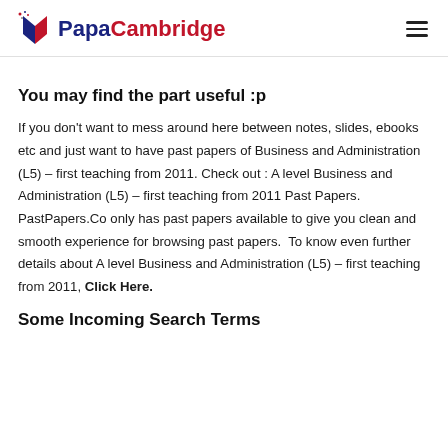PapaCambridge
You may find the part useful :p
If you don't want to mess around here between notes, slides, ebooks etc and just want to have past papers of Business and Administration (L5) – first teaching from 2011. Check out : A level Business and Administration (L5) – first teaching from 2011 Past Papers. PastPapers.Co only has past papers available to give you clean and smooth experience for browsing past papers.  To know even further details about A level Business and Administration (L5) – first teaching from 2011, Click Here.
Some Incoming Search Terms